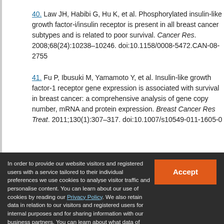40. Law JH, Habibi G, Hu K, et al. Phosphorylated insulin-like growth factor-i/insulin receptor is present in all breast cancer subtypes and is related to poor survival. Cancer Res. 2008;68(24):10238–10246. doi:10.1158/0008-5472.CAN-08-2755
41. Fu P, Ibusuki M, Yamamoto Y, et al. Insulin-like growth factor-1 receptor gene expression is associated with survival in breast cancer: a comprehensive analysis of gene copy number, mRNA and protein expression. Breast Cancer Res Treat. 2011;130(1):307–317. doi:10.1007/s10549-011-1605-0
In order to provide our website visitors and registered users with a service tailored to their individual preferences we use cookies to analyse visitor traffic and personalise content. You can learn about our use of cookies by reading our Privacy Policy. We also retain data in relation to our visitors and registered users for internal purposes and for sharing information with our business partners. You can learn about what data of yours we retain, how it is processed, who it is shared with and your right to have your data deleted by reading our Privacy Policy. If you agree to our use of cookies and the contents of our Privacy Policy please click 'accept'.